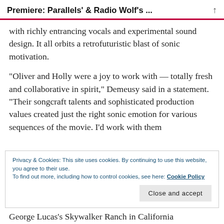Premiere: Parallels' & Radio Wolf's ...
with richly entrancing vocals and experimental sound design. It all orbits a retrofuturistic blast of sonic motivation.
“Oliver and Holly were a joy to work with — totally fresh and collaborative in spirit,” Demeusy said in a statement. “Their songcraft talents and sophisticated production values created just the right sonic emotion for various sequences of the movie. I’d work with them
Privacy & Cookies: This site uses cookies. By continuing to use this website, you agree to their use.
To find out more, including how to control cookies, see here: Cookie Policy
George Lucas’s Skywalker Ranch in California